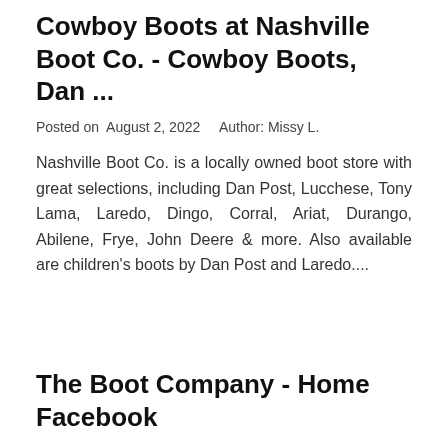Cowboy Boots at Nashville Boot Co. - Cowboy Boots, Dan ...
Posted on  August 2, 2022     Author: Missy L.
Nashville Boot Co. is a locally owned boot store with great selections, including Dan Post, Lucchese, Tony Lama, Laredo, Dingo, Corral, Ariat, Durango, Abilene, Frye, John Deere & more. Also available are children's boots by Dan Post and Laredo....
The Boot Company - Home Facebook